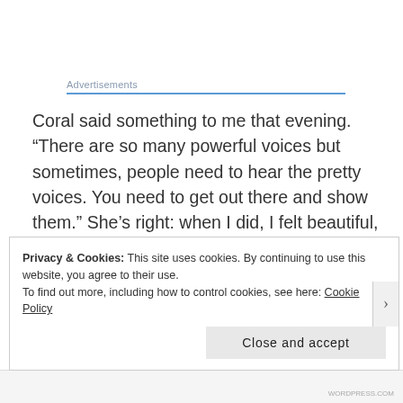Advertisements
Coral said something to me that evening. “There are so many powerful voices but sometimes, people need to hear the pretty voices. You need to get out there and show them.” She’s right: when I did, I felt beautiful, alive and like I had a purpose.
It was one of the best days in recent memory. Do
Privacy & Cookies: This site uses cookies. By continuing to use this website, you agree to their use.
To find out more, including how to control cookies, see here: Cookie Policy
Close and accept